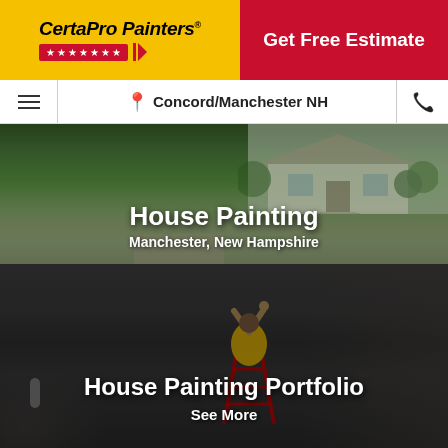[Figure (logo): CertaPro Painters logo with yellow background, red star bar, and italic bold text]
[Figure (other): Red CTA button with Get Free Estimate text]
Concord/Manchester NH
[Figure (photo): House exterior photo with green landscaping, used as hero background]
House Painting
Manchester, New Hampshire
[Figure (photo): Painter on ladder painting ceiling interior, dark overlay photo]
House Painting Portfolio
See More